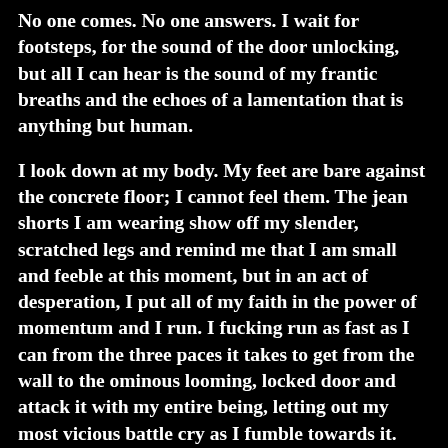No one comes. No one answers. I wait for footsteps, for the sound of the door unlocking, but all I can hear is the sound of my frantic breaths and the echoes of a lamentation that is anything but human.
I look down at my body. My feet are bare against the concrete floor; I cannot feel them. The jean shorts I am wearing show off my slender, scratched legs and remind me that I am small and feeble at this moment, but in an act of desperation, I put all of my faith in the power of momentum and I run. I fucking run as fast as I can from the three paces it takes to get from the wall to the ominous looming, locked door and attack it with my entire being, letting out my most vicious battle cry as I fumble towards it.
The door wins.
I try again.
And again.